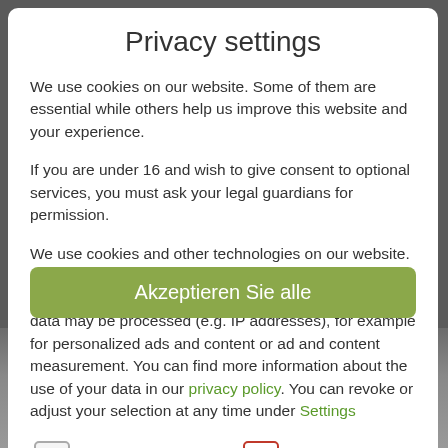Privacy settings
We use cookies on our website. Some of them are essential while others help us improve this website and your experience.
If you are under 16 and wish to give consent to optional services, you must ask your legal guardians for permission.
We use cookies and other technologies on our website. Some of them are essential, while others help us to improve this website and your experience. Personal data may be processed (e.g. IP addresses), for example for personalized ads and content or ad and content measurement. You can find more information about the use of your data in our privacy policy. You can revoke or adjust your selection at any time under Settings
Essenziell (checked)
Externe Medien (unchecked)
Akzeptieren Sie alle